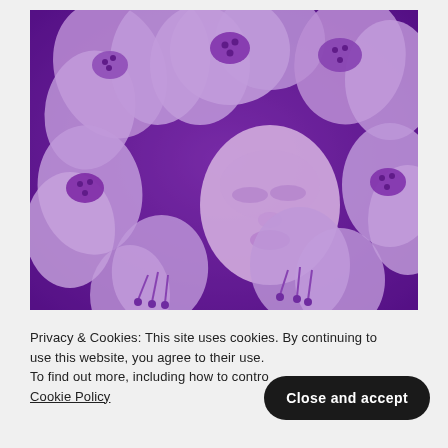[Figure (photo): A purple-toned duotone photo of a woman's face partially hidden among large white rhododendron flowers, with a deep purple background.]
Privacy & Cookies: This site uses cookies. By continuing to use this website, you agree to their use. To find out more, including how to control cookies, see here: Cookie Policy
Close and accept